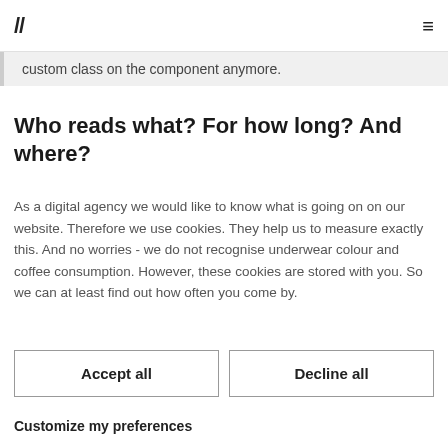// ≡
custom class on the component anymore.
Who reads what? For how long? And where?
As a digital agency we would like to know what is going on on our website. Therefore we use cookies. They help us to measure exactly this. And no worries - we do not recognise underwear colour and coffee consumption. However, these cookies are stored with you. So we can at least find out how often you come by.
Accept all
Decline all
Customize my preferences